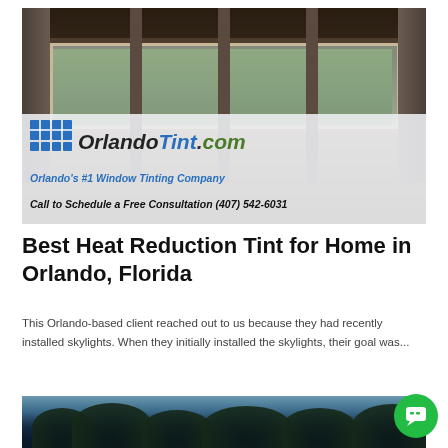[Figure (photo): Interior room photo with windows and curtains, overlaid with OrlandoTint.com logo banner reading 'Orlando's #1 Window Tinting Company' and 'Call to Schedule a Free Consultation (407) 542-6031']
Best Heat Reduction Tint for Home in Orlando, Florida
This Orlando-based client reached out to us because they had recently installed skylights. When they initially installed the skylights, their goal was...
[Figure (photo): Outdoor photo showing tree canopy against sky, bottom portion of page]